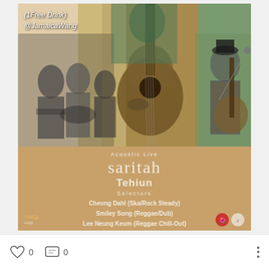[Figure (photo): Concert event poster showing musicians playing guitar and instruments in a collaged vintage-style photo montage with warm tan/khaki background stripes. Top left shows text overlay '(1Free Drink) @JamaicaWang'. Lower portion has tan background with event details.]
(1Free Drink)
@JamaicaWang
Acoustic Live
saritah
Tehiun
Selectors
Cheong Dahl (Ska/Rock Steady)
Smiley Song (Reggae/Dub)
Lee Neung Keum (Reggae Chill-Out)
0   0